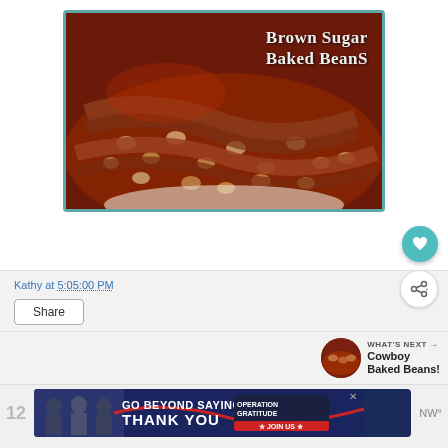[Figure (photo): Close-up photo of Brown Sugar Baked Beans in a white bowl with bacon strips on top, with teal border frame. Text overlay reads 'Brown Sugar Baked Beans']
Kathy at 5:05:00 PM
Share
WHAT'S NEXT → Cowboy Baked Beans!
[Figure (photo): Thumbnail image of cowboy baked beans]
[Figure (infographic): Advertisement banner: GO BEYOND SAYING THANK YOU - OPERATION GRATITUDE - JOIN US, with image of people]
12
NW°